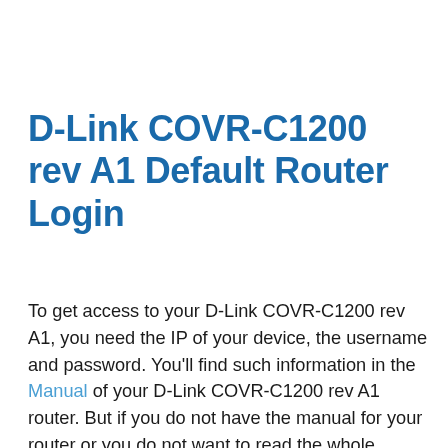D-Link COVR-C1200 rev A1 Default Router Login
To get access to your D-Link COVR-C1200 rev A1, you need the IP of your device, the username and password. You'll find such information in the Manual of your D-Link COVR-C1200 rev A1 router. But if you do not have the manual for your router or you do not want to read the whole manual to find the default login information then you can